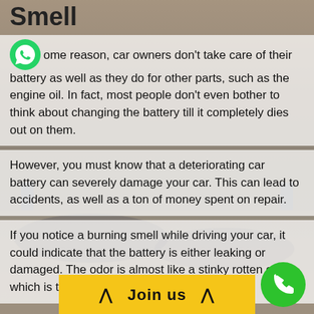Smell
ome reason, car owners don't take care of their battery as well as they do for other parts, such as the engine oil. In fact, most people don't even bother to think about changing the battery till it completely dies out on them.
However, you must know that a deteriorating car battery can severely damage your car. This can lead to accidents, as well as a ton of money spent on repair.
If you notice a burning smell while driving your car, it could indicate that the battery is either leaking or damaged. The odor is almost like a stinky rotten egg, which is the sulphuric acid of the battery.
4. Your Battery Case Looks Swollen
If the casing of … be swollen or